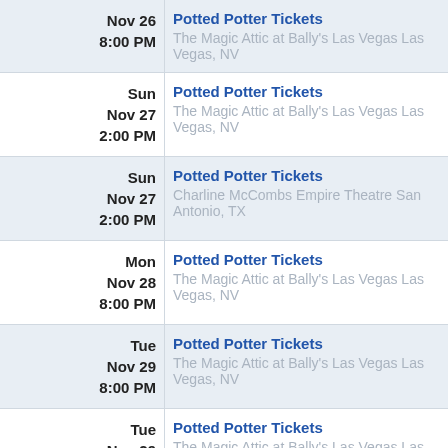| Date | Event |
| --- | --- |
| Nov 26
8:00 PM | Potted Potter Tickets
The Magic Attic at Bally's Las Vegas Las Vegas, NV |
| Sun
Nov 27
2:00 PM | Potted Potter Tickets
The Magic Attic at Bally's Las Vegas Las Vegas, NV |
| Sun
Nov 27
2:00 PM | Potted Potter Tickets
Charline McCombs Empire Theatre San Antonio, TX |
| Mon
Nov 28
8:00 PM | Potted Potter Tickets
The Magic Attic at Bally's Las Vegas Las Vegas, NV |
| Tue
Nov 29
8:00 PM | Potted Potter Tickets
The Magic Attic at Bally's Las Vegas Las Vegas, NV |
| Tue
Nov 29
2:00 PM | Potted Potter Tickets
The Magic Attic at Bally's Las Vegas Las Vegas, NV |
| Thu
Dec 1
2:00 PM | Potted Potter Tickets
The Magic Attic at Bally's Las Vegas Las Vegas, NV |
| Thu | Potted Potter Tickets |